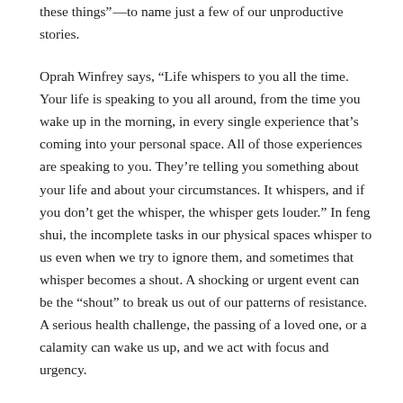these things”—to name just a few of our unproductive stories.
Oprah Winfrey says, “Life whispers to you all the time. Your life is speaking to you all around, from the time you wake up in the morning, in every single experience that’s coming into your personal space. All of those experiences are speaking to you. They’re telling you something about your life and about your circumstances. It whispers, and if you don’t get the whisper, the whisper gets louder.” In feng shui, the incomplete tasks in our physical spaces whisper to us even when we try to ignore them, and sometimes that whisper becomes a shout. A shocking or urgent event can be the “shout” to break us out of our patterns of resistance. A serious health challenge, the passing of a loved one, or a calamity can wake us up, and we act with focus and urgency.